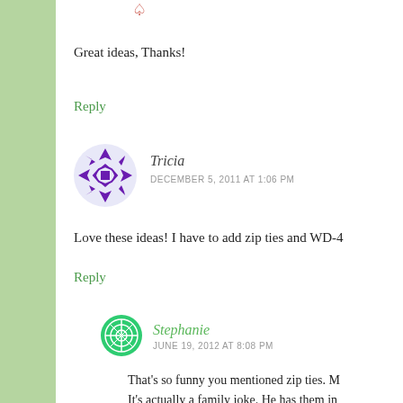[Figure (illustration): Small red heart/arrow icon at top]
Great ideas, Thanks!
Reply
[Figure (illustration): Purple geometric snowflake avatar for Tricia]
Tricia
DECEMBER 5, 2011 AT 1:06 PM
Love these ideas! I have to add zip ties and WD-4
Reply
[Figure (illustration): Green geometric circle avatar for Stephanie]
Stephanie
JUNE 19, 2012 AT 8:08 PM
That's so funny you mentioned zip ties. M It's actually a family joke. He has them in That's a great idea for his stocking!